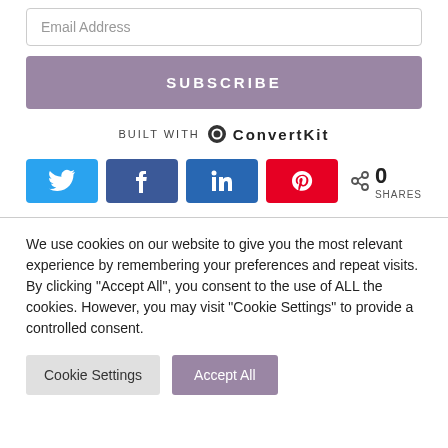Email Address
SUBSCRIBE
BUILT WITH ConvertKit
[Figure (infographic): Social share buttons: Twitter (blue), Facebook (blue), LinkedIn (dark blue), Pinterest (red), and a share count showing 0 SHARES]
We use cookies on our website to give you the most relevant experience by remembering your preferences and repeat visits. By clicking "Accept All", you consent to the use of ALL the cookies. However, you may visit "Cookie Settings" to provide a controlled consent.
Cookie Settings
Accept All